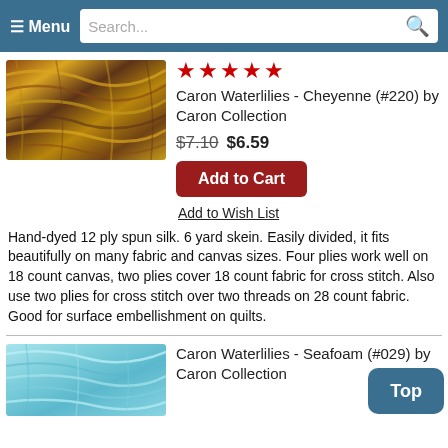≡ Menu  Search...
[Figure (photo): Skein of hand-dyed silk thread in warm autumn colors: gold, brown, rust, dark gray]
[Figure (other): Five red stars rating]
Caron Waterlilies - Cheyenne (#220) by Caron Collection
$7.10  $6.59
Add to Cart
Add to Wish List
Hand-dyed 12 ply spun silk. 6 yard skein. Easily divided, it fits beautifully on many fabric and canvas sizes. Four plies work well on 18 count canvas, two plies cover 18 count fabric for cross stitch. Also use two plies for cross stitch over two threads on 28 count fabric. Good for surface embellishment on quilts.
[Figure (photo): Skein of light blue/seafoam hand-dyed silk thread]
Caron Waterlilies - Seafoam (#029) by Caron Collection